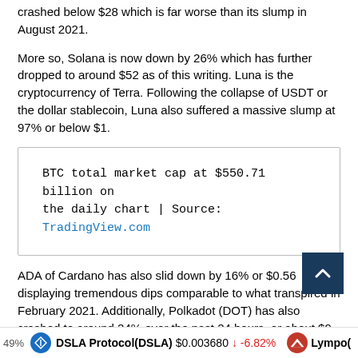crashed below $28 which is far worse than its slump in August 2021.
More so, Solana is now down by 26% which has further dropped to around $52 as of this writing. Luna is the cryptocurrency of Terra. Following the collapse of USDT or the dollar stablecoin, Luna also suffered a massive slump at 97% or below $1.
BTC total market cap at $550.71 billion on the daily chart | Source: TradingView.com
ADA of Cardano has also slid down by 16% or $0.56 displaying tremendous dips comparable to what transpired in February 2021. Additionally, Polkadot (DOT) has also crashed to around 24% over the past 24 hours, or about $9.
49%   DSLA Protocol(DSLA)  $0.003680  -6.82%   Lympo(